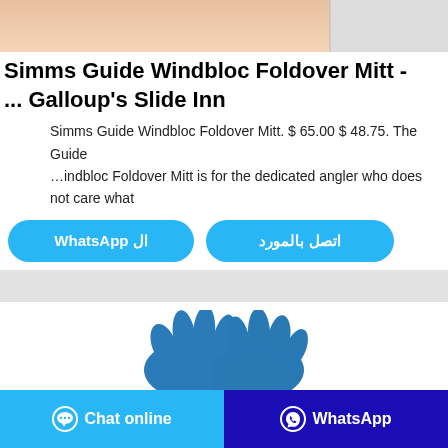[Figure (photo): Partial image of a hand or skin at the top of the page]
Simms Guide Windbloc Foldover Mitt - ... Galloup's Slide Inn
Simms Guide Windbloc Foldover Mitt. $ 65.00 $ 48.75. The Guide …indbloc Foldover Mitt is for the dedicated angler who does not care what
ال WhatsApp
اتصل بالمورد
[Figure (photo): Two blue gloved hands pressed together]
Chat online
WhatsApp